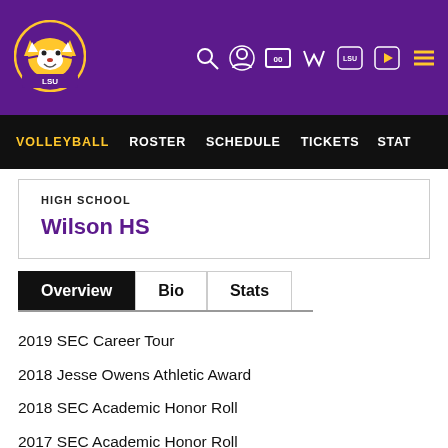[Figure (logo): LSU Tigers logo - tiger mascot in circle on purple header background]
VOLLEYBALL | ROSTER | SCHEDULE | TICKETS | STAT
HIGH SCHOOL
Wilson HS
Overview | Bio | Stats
2019 SEC Career Tour
2018 Jesse Owens Athletic Award
2018 SEC Academic Honor Roll
2017 SEC Academic Honor Roll